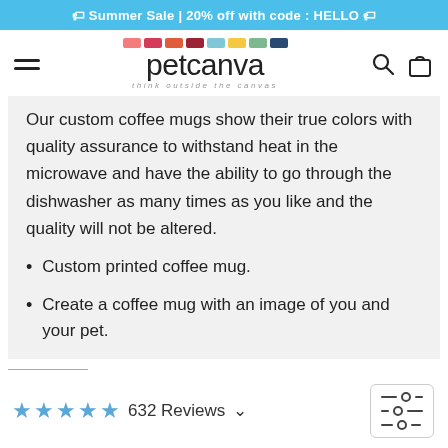🏷 Summer Sale | 20% off with code : HELLO 🏷
[Figure (logo): PetCanva logo with colorful swatches and tagline 'think outside the canvas']
Our custom coffee mugs show their true colors with quality assurance to withstand heat in the microwave and have the ability to go through the dishwasher as many times as you like and the quality will not be altered.
Custom printed coffee mug.
Create a coffee mug with an image of you and your pet.
632 Reviews